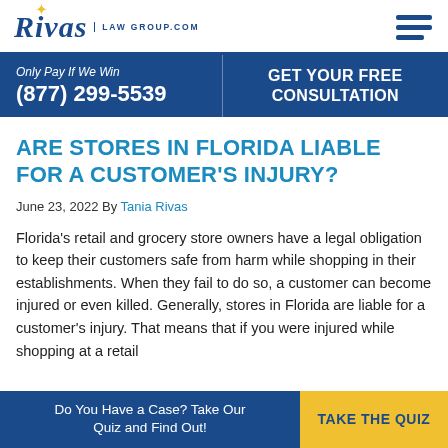Rivas LAW GROUP.COM
Only Pay If We Win (877) 299-5539 | GET YOUR FREE CONSULTATION
ARE STORES IN FLORIDA LIABLE FOR A CUSTOMER'S INJURY?
June 23, 2022 By Tania Rivas
Florida's retail and grocery store owners have a legal obligation to keep their customers safe from harm while shopping in their establishments. When they fail to do so, a customer can become injured or even killed. Generally, stores in Florida are liable for a customer's injury. That means that if you were injured while shopping at a retail
Do You Have a Case? Take Our Quiz and Find Out! TAKE THE QUIZ